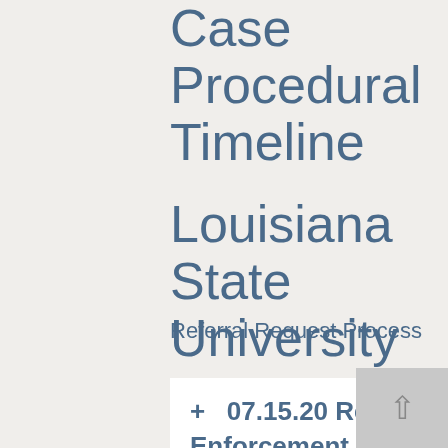Case Procedural Timeline
Louisiana State University
Referral Request Process
+ 07.15.20 Referral Request by NCAA Vice President of Enforcement